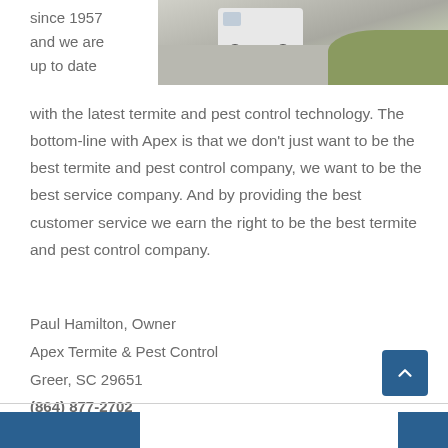[Figure (photo): Partial view of a white service van parked on a driveway/pavement with grass visible]
since 1957
and we are
up to date
with the latest termite and pest control technology. The bottom-line with Apex is that we don't just want to be the best termite and pest control company, we want to be the best service company. And by providing the best customer service we earn the right to be the best termite and pest control company.
Paul Hamilton, Owner
Apex Termite & Pest Control
Greer, SC 29651
(864) 877-2702